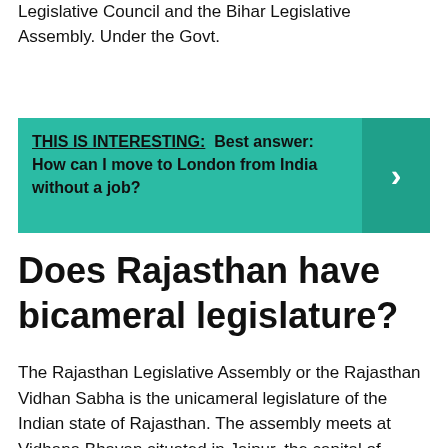Legislative Council and the Bihar Legislative Assembly. Under the Govt.
THIS IS INTERESTING:  Best answer: How can I move to London from India without a job?
Does Rajasthan have bicameral legislature?
The Rajasthan Legislative Assembly or the Rajasthan Vidhan Sabha is the unicameral legislature of the Indian state of Rajasthan. The assembly meets at Vidhana Bhavan situated in Jaipur, the capital of Rajasthan. … Presently, the legislative assembly consists of 200 members.